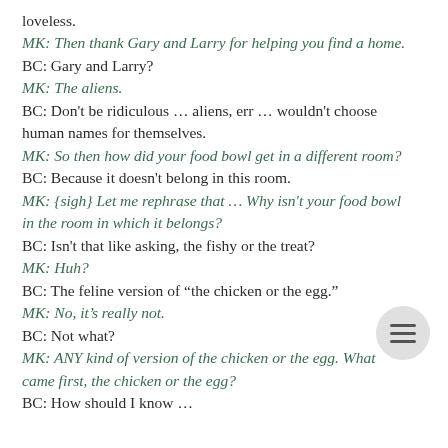loveless.
MK: Then thank Gary and Larry for helping you find a home.
BC: Gary and Larry?
MK: The aliens.
BC: Don't be ridiculous … aliens, err … wouldn't choose human names for themselves.
MK: So then how did your food bowl get in a different room?
BC: Because it doesn't belong in this room.
MK: {sigh} Let me rephrase that … Why isn't your food bowl in the room in which it belongs?
BC: Isn't that like asking, the fishy or the treat?
MK: Huh?
BC: The feline version of "the chicken or the egg."
MK: No, it's really not.
BC: Not what?
MK: ANY kind of version of the chicken or the egg. What came first, the chicken or the egg?
BC: How should I know … she's the one that brought home a chicken.